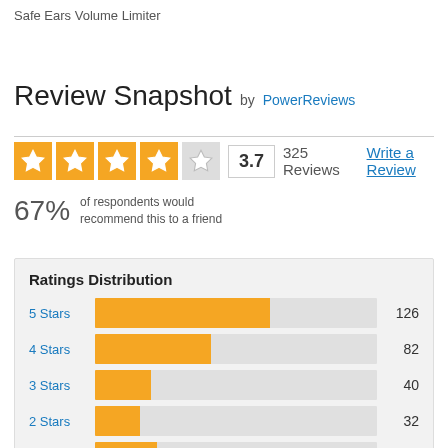Safe Ears Volume Limiter
Review Snapshot by PowerReviews
3.7  325 Reviews  Write a Review
67% of respondents would recommend this to a friend
Ratings Distribution
[Figure (bar-chart): Ratings Distribution]